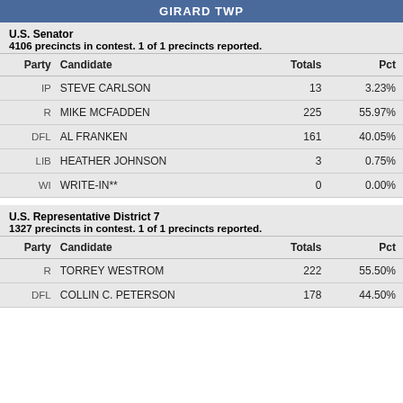GIRARD TWP
U.S. Senator
4106 precincts in contest. 1 of 1 precincts reported.
| Party | Candidate | Totals | Pct |
| --- | --- | --- | --- |
| IP | STEVE CARLSON | 13 | 3.23% |
| R | MIKE MCFADDEN | 225 | 55.97% |
| DFL | AL FRANKEN | 161 | 40.05% |
| LIB | HEATHER JOHNSON | 3 | 0.75% |
| WI | WRITE-IN** | 0 | 0.00% |
U.S. Representative District 7
1327 precincts in contest. 1 of 1 precincts reported.
| Party | Candidate | Totals | Pct |
| --- | --- | --- | --- |
| R | TORREY WESTROM | 222 | 55.50% |
| DFL | COLLIN C. PETERSON | 178 | 44.50% |